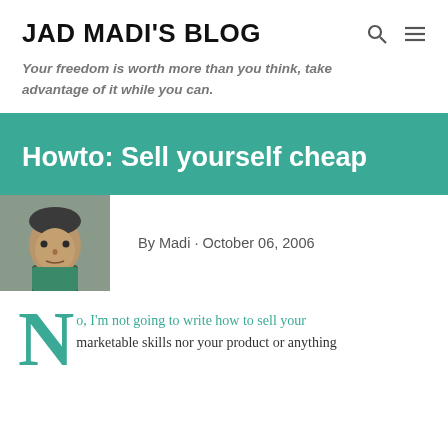JAD MADI'S BLOG
Your freedom is worth more than you think, take advantage of it while you can.
Howto: Sell yourself cheap
By Madi · October 06, 2006
[Figure (photo): Author photo: man facing camera, wearing a green collar]
No, I'm not going to write how to sell your marketable skills nor your product or anything